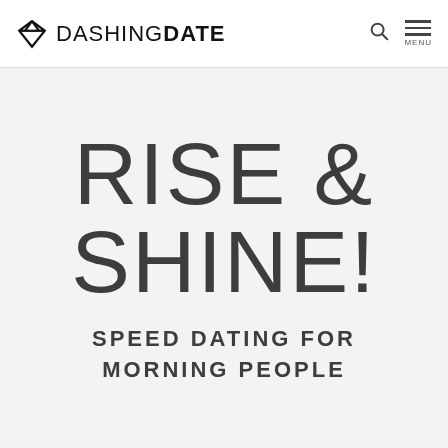DASHING DATE
RISE & SHINE!
SPEED DATING FOR MORNING PEOPLE